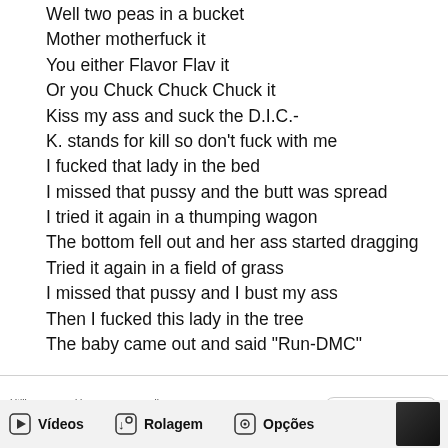Well two peas in a bucket
Mother motherfuck it
You either Flavor Flav it
Or you Chuck Chuck Chuck it
Kiss my ass and suck the D.I.C.-
K. stands for kill so don't fuck with me
I fucked that lady in the bed
I missed that pussy and the butt was spread
I tried it again in a thumping wagon
The bottom fell out and her ass started dragging
Tried it again in a field of grass
I missed that pussy and I bust my ass
Then I fucked this lady in the tree
The baby came out and said "Run-DMC"
Utilizamos cookies para personalizar sua experiência. Ao acessar o site, você concorda com a nossa Política de Privacidade.
Ok, entendi
Vídeos  Rolagem  Opções